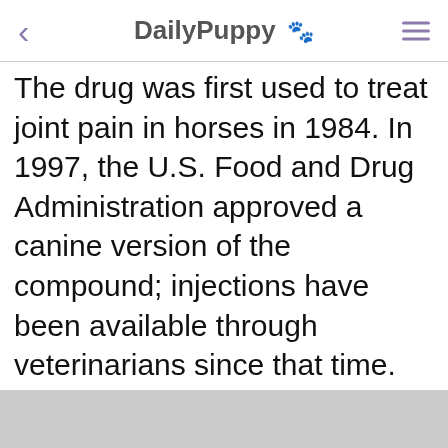DailyPuppy 🐾
The drug was first used to treat joint pain in horses in 1984. In 1997, the U.S. Food and Drug Administration approved a canine version of the compound; injections have been available through veterinarians since that time.